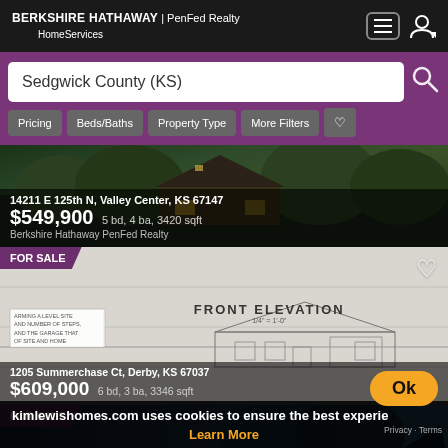BERKSHIRE HATHAWAY | PenFed Realty HomeServices
Sedgwick County (KS)
Pricing
Beds/Baths
Property Type
More Filters
14211 E 125th N, Valley Center, KS 67147
$549,900 5 bd, 4 ba, 3420 sqft
Berkshire Hathaway PenFed Realty
[Figure (photo): House exterior photo at dusk, dark/green tones]
FOR SALE
[Figure (engineering-diagram): Blueprint front elevation drawing of a house]
1205 Summerchase Ct, Derby, KS 67037
$609,000 6 bd, 3 ba, 3346 sqft
kimlewishomes.com uses cookies to ensure the best experi...
Ok
Learn More
Privacy - Terms
FOR SALE